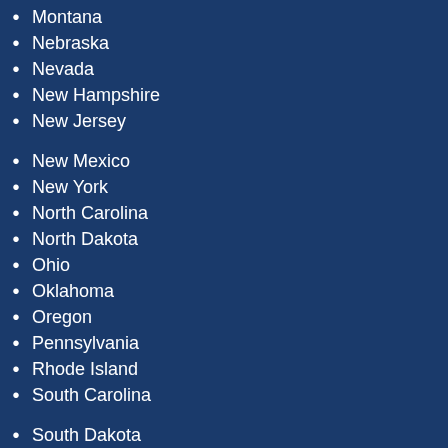Montana
Nebraska
Nevada
New Hampshire
New Jersey
New Mexico
New York
North Carolina
North Dakota
Ohio
Oklahoma
Oregon
Pennsylvania
Rhode Island
South Carolina
South Dakota
Tennessee
Texas
Utah
Vermont
Virginia